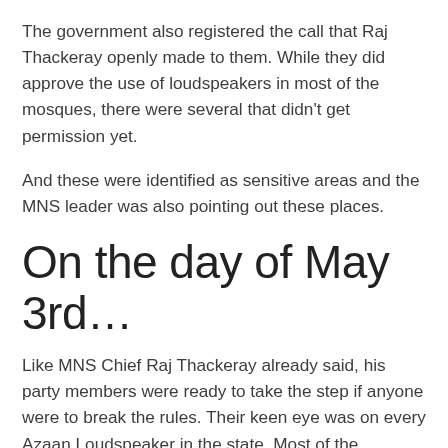The government also registered the call that Raj Thackeray openly made to them. While they did approve the use of loudspeakers in most of the mosques, there were several that didn't get permission yet.
And these were identified as sensitive areas and the MNS leader was also pointing out these places.
On the day of May 3rd…
Like MNS Chief Raj Thackeray already said, his party members were ready to take the step if anyone were to break the rules. Their keen eye was on every Azaan Loudspeaker in the state. Most of the mosques adhered to the Supreme Courts' orders and did not play 'Azaan' on loudspeakers before 6 AM. However, the clerks recited 'Azaan' without the loud noise and the people reached their praying place as usual.